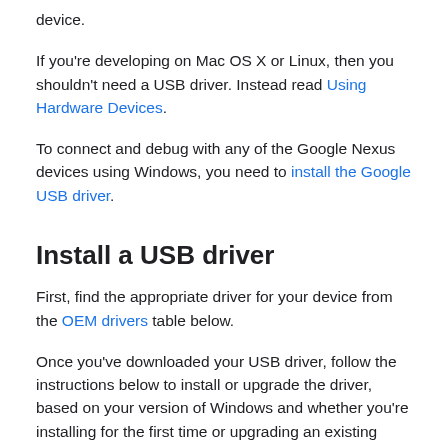device.
If you're developing on Mac OS X or Linux, then you shouldn't need a USB driver. Instead read Using Hardware Devices.
To connect and debug with any of the Google Nexus devices using Windows, you need to install the Google USB driver.
Install a USB driver
First, find the appropriate driver for your device from the OEM drivers table below.
Once you've downloaded your USB driver, follow the instructions below to install or upgrade the driver, based on your version of Windows and whether you're installing for the first time or upgrading an existing driver. Then see